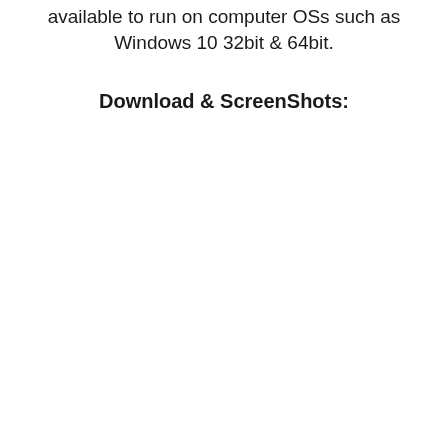available to run on computer OSs such as Windows 10 32bit & 64bit.
Download & ScreenShots: